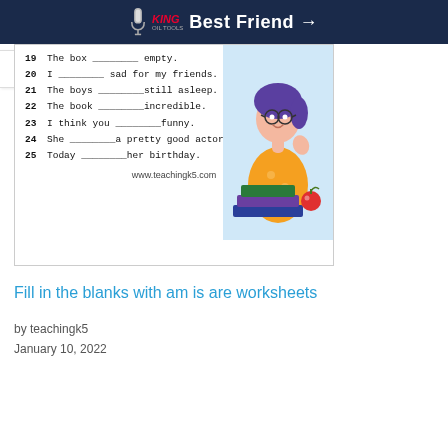[Figure (illustration): Dark blue advertisement banner with microphone icon, King Oil Tools logo in red, and text 'Best Friend →' in white]
[Figure (screenshot): Worksheet snippet showing fill-in-the-blank sentences numbered 19-25, with a cartoon girl studying illustration on the right side and www.teachingk5.com at the bottom]
Fill in the blanks with am is are worksheets
by teachingk5
January 10, 2022